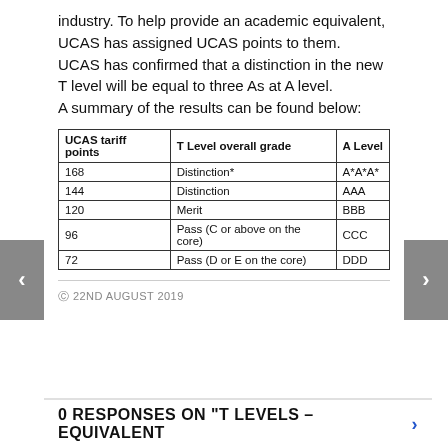industry. To help provide an academic equivalent, UCAS has assigned UCAS points to them.
UCAS has confirmed that a distinction in the new T level will be equal to three As at A level.
A summary of the results can be found below:
| UCAS tariff points | T Level overall grade | A Level |
| --- | --- | --- |
| 168 | Distinction* | A*A*A* |
| 144 | Distinction | AAA |
| 120 | Merit | BBB |
| 96 | Pass (C or above on the core) | CCC |
| 72 | Pass (D or E on the core) | DDD |
22ND AUGUST 2019
0 RESPONSES ON "T LEVELS – EQUIVALENT